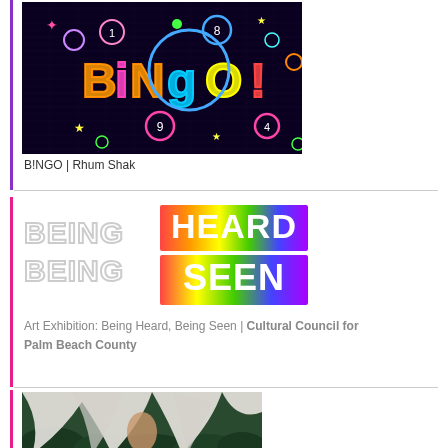[Figure (photo): Neon BINGO sign on dark brick wall background with colorful circles, stars, and numbers]
B!NGO | Rhum Shak
[Figure (illustration): Being Heard Being Seen logo - grey outlined text on left, rainbow/gradient colored block text on right]
Art Exhibition: Being Heard, Being Seen | Cultural Council for Palm Beach County
[Figure (photo): Close-up photo of white fabric and dark green leaves]